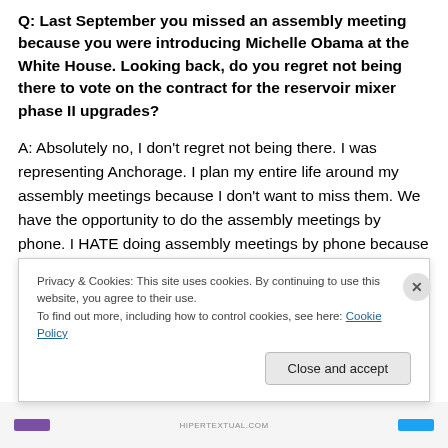Q: Last September you missed an assembly meeting because you were introducing Michelle Obama at the White House. Looking back, do you regret not being there to vote on the contract for the reservoir mixer phase II upgrades?
A: Absolutely no, I don't regret not being there. I was representing Anchorage. I plan my entire life around my assembly meetings because I don't want to miss them. We have the opportunity to do the assembly meetings by phone. I HATE doing assembly meetings by phone because you get elected and you need to do your job
Privacy & Cookies: This site uses cookies. By continuing to use this website, you agree to their use.
To find out more, including how to control cookies, see here: Cookie Policy
Close and accept